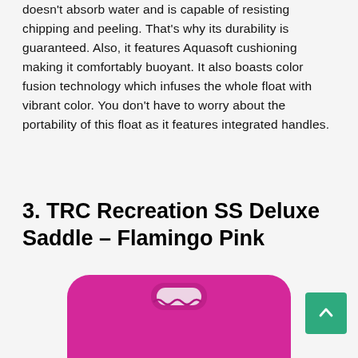doesn't absorb water and is capable of resisting chipping and peeling. That's why its durability is guaranteed. Also, it features Aquasoft cushioning making it comfortably buoyant. It also boasts color fusion technology which infuses the whole float with vibrant color. You don't have to worry about the portability of this float as it features integrated handles.
3. TRC Recreation SS Deluxe Saddle – Flamingo Pink
[Figure (photo): Pink foam pool float/saddle with a carry handle cutout at the top and 'SUPER·SOFT' branding in white text, with 'TEXASREC.COM' text below. The float is rectangular with rounded corners and magenta/pink color.]